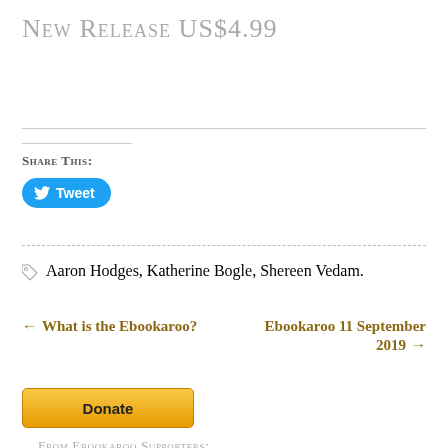New Release US$4.99
Share This:
[Figure (other): Twitter Tweet button (blue rounded rectangle with bird icon and 'Tweet' label)]
Aaron Hodges, Katherine Bogle, Shereen Vedam.
← What is the Ebookaroo?
Ebookaroo 11 September 2019 →
[Figure (other): Yellow-orange Donate button]
From Ebookaroo Supporters: